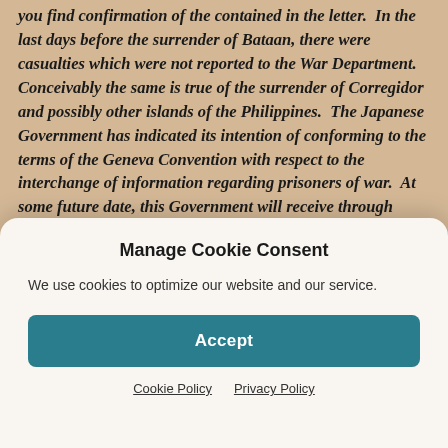you find confirmation of the contained in the letter. In the last days before the surrender of Bataan, there were casualties which were not reported to the War Department. Conceivably the same is true of the surrender of Corregidor and possibly other islands of the Philippines. The Japanese Government has indicated its intention of conforming to the terms of the Geneva Convention with respect to the interchange of information regarding prisoners of war. At some future date, this Government will receive through Geneva a list of persons who have been taken prisoners of war. Until that time the
Manage Cookie Consent
We use cookies to optimize our website and our service.
Accept
Cookie Policy   Privacy Policy